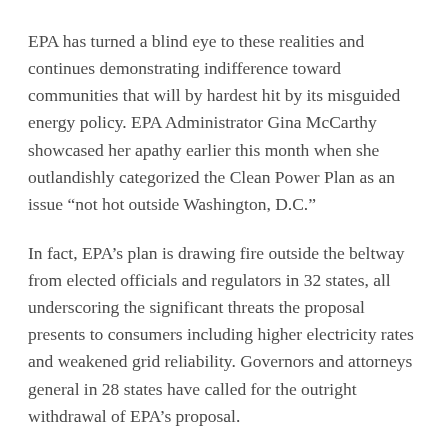EPA has turned a blind eye to these realities and continues demonstrating indifference toward communities that will by hardest hit by its misguided energy policy. EPA Administrator Gina McCarthy showcased her apathy earlier this month when she outlandishly categorized the Clean Power Plan as an issue “not hot outside Washington, D.C.”
In fact, EPA’s plan is drawing fire outside the beltway from elected officials and regulators in 32 states, all underscoring the significant threats the proposal presents to consumers including higher electricity rates and weakened grid reliability. Governors and attorneys general in 28 states have called for the outright withdrawal of EPA’s proposal.
Lawmakers on Capitol Hill have also noted EPA’s disregard toward economic concerns and are rightfully unveiling the